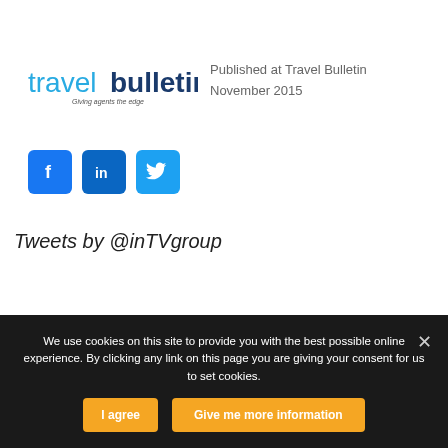[Figure (logo): Travel Bulletin logo - 'travel' in light blue, 'bulletin' in dark blue bold, tagline below]
Published at Travel Bulletin
November 2015
[Figure (other): Social media icons: Facebook (blue), LinkedIn (blue), Twitter (blue)]
Tweets by @inTVgroup
We use cookies on this site to provide you with the best possible online experience. By clicking any link on this page you are giving your consent for us to set cookies.
I agree
Give me more information